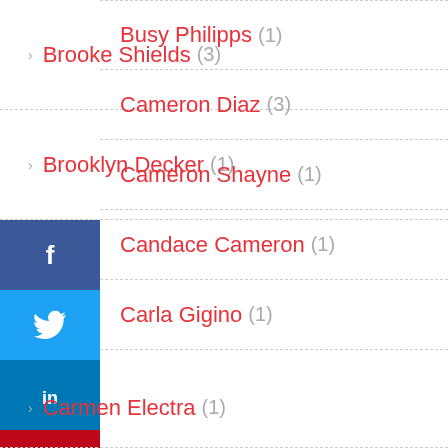Brooke Shields (3)
Brooklyn Decker (1)
Busy Philipps (1)
Cameron Diaz (3)
Cameron Shayne (1)
Candace Cameron (1)
Carla Gigino (1)
Carmen Electra (1)
Carolt Alt (1)